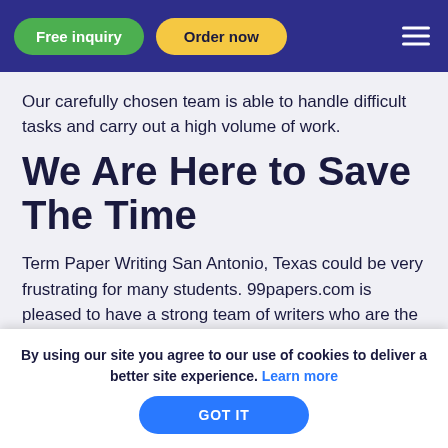Free inquiry | Order now
Our carefully chosen team is able to handle difficult tasks and carry out a high volume of work.
We Are Here to Save The Time
Term Paper Writing San Antonio, Texas could be very frustrating for many students. 99papers.com is pleased to have a strong team of writers who are the core of its operation. A strict but fair applicant selection and continuous performance evaluation ensure that only those
By using our site you agree to our use of cookies to deliver a better site experience. Learn more
GOT IT